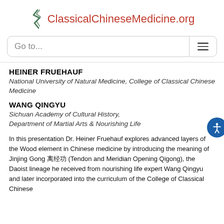ClassicalChineseMedicine.org
Go to...
HEINER FRUEHAUF
National University of Natural Medicine, College of Classical Chinese Medicine
WANG QINGYU
Sichuan Academy of Cultural History, Department of Martial Arts & Nourishing Life
In this presentation Dr. Heiner Fruehauf explores advanced layers of the Wood element in Chinese medicine by introducing the meaning of Jinjing Gong 筋經功 (Tendon and Meridian Opening Qigong), the Daoist lineage he received from nourishing life expert Wang Qingyu and later incorporated into the curriculum of the College of Classical Chinese